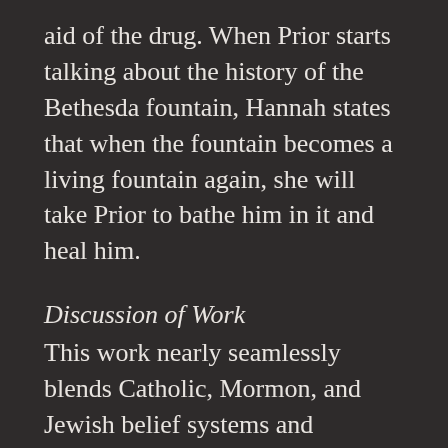aid of the drug. When Prior starts talking about the history of the Bethesda fountain, Hannah states that when the fountain becomes a living fountain again, she will take Prior to bathe him in it and heal him.
Discussion of Work
This work nearly seamlessly blends Catholic, Mormon, and Jewish belief systems and thoughts to show the complex relationships that LGBT people experience with those religions and religious concepts. The religious-secular tension of the LGBT experience is embodied in Joe, who ultimately stays still and never moves forward because of his inability to fully come to terms with both his religion and his sexuality. The language of